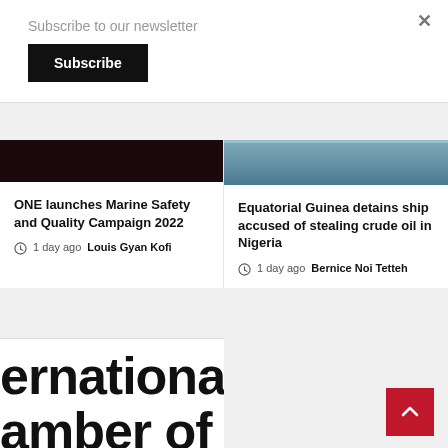Subscribe to our newsletter
Subscribe
×
ONE launches Marine Safety and Quality Campaign 2022
1 day ago  Louis Gyan Kofi
Equatorial Guinea detains ship accused of stealing crude oil in Nigeria
1 day ago  Bernice Noi Tetteh
ernational
amber of S
the future of shipping